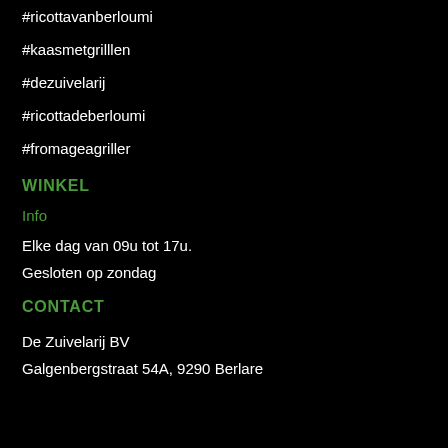#ricottavanberloumi
#kaasmetgrilllen
#dezuivelarij
#ricottadeberloumi
#fromageagriller
WINKEL
Info
Elke dag van 09u tot 17u.
Gesloten op zondag
CONTACT
De Zuivelarij BV
Galgenbergstraat 54A, 9290 Berlare